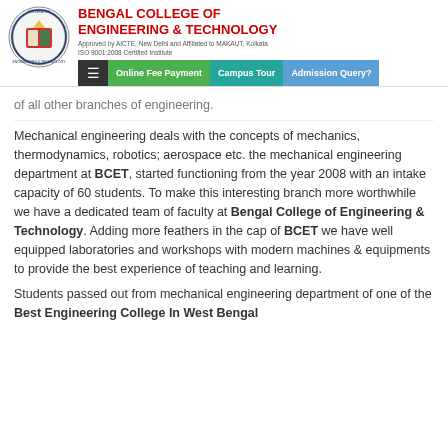[Figure (logo): Bengal College of Engineering & Technology circular logo with college emblem]
BENGAL COLLEGE OF ENGINEERING & TECHNOLOGY
Approved by AICTE, New Delhi and Affiliated to MAKAUT, Kolkata
ISO 9001:2008 Certified Institute
[Figure (screenshot): Navigation bar with hamburger menu, Online Fee Payment (green), Campus Tour (teal), Admission Query? (blue) buttons]
of all other branches of engineering.
Mechanical engineering deals with the concepts of mechanics, thermodynamics, robotics; aerospace etc. the mechanical engineering department at BCET, started functioning from the year 2008 with an intake capacity of 60 students. To make this interesting branch more worthwhile we have a dedicated team of faculty at Bengal College of Engineering & Technology. Adding more feathers in the cap of BCET we have well equipped laboratories and workshops with modern machines & equipments to provide the best experience of teaching and learning.
Students passed out from mechanical engineering department of one of the Best Engineering College In West Bengal have proven successful in their respective fields.